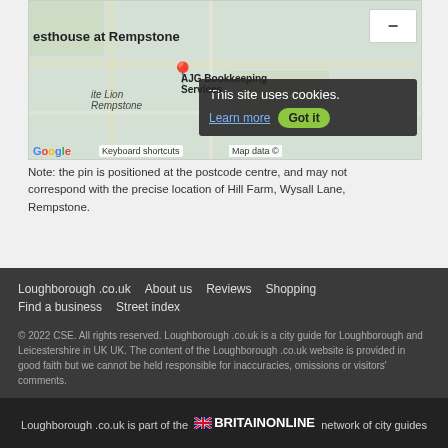[Figure (map): Google Maps screenshot showing area around Rempstone with pin, showing AJG Bookkeeping Services and other local landmarks. Cookie consent banner visible on map.]
Note: the pin is positioned at the postcode centre, and may not correspond with the precise location of Hill Farm, Wysall Lane, Rempstone.
Loughborough .co.uk  About us  Reviews  Shopping  Find a business  Street index
© 2022 CSE. All rights reserved. Loughborough .co.uk is a city guide for Loughborough and Leicestershire in UK UK. The content of the Loughborough .co.uk website is provided in good faith but we cannot be held responsible for inaccuracies, omissions or visitors' comments.
Loughborough .co.uk is part of the BRITAINONLINE network of city guides